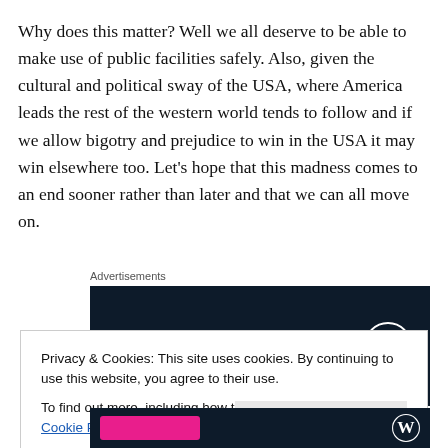Why does this matter? Well we all deserve to be able to make use of public facilities safely. Also, given the cultural and political sway of the USA, where America leads the rest of the western world tends to follow and if we allow bigotry and prejudice to win in the USA it may win elsewhere too. Let's hope that this madness comes to an end sooner rather than later and that we can all move on.
Advertisements
[Figure (other): WordPress advertisement banner with dark navy background and WordPress logo (white circle W icon) on the right]
Privacy & Cookies: This site uses cookies. By continuing to use this website, you agree to their use.
To find out more, including how to control cookies, see here: Cookie Policy
[Figure (other): Bottom of advertisement banner with dark navy background, pink button on the left and a circular logo on the right]